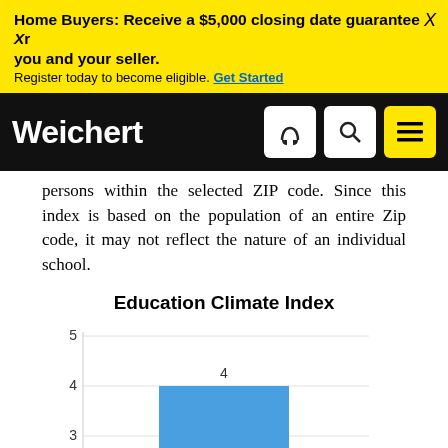Home Buyers: Receive a $5,000 closing date guarantee Xr you and your seller. Register today to become eligible. Get Started
[Figure (logo): Weichert logo on black navbar with phone, search, and menu icons]
persons within the selected ZIP code. Since this index is based on the population of an entire Zip code, it may not reflect the nature of an individual school.
Education Climate Index
[Figure (bar-chart): Education Climate Index]